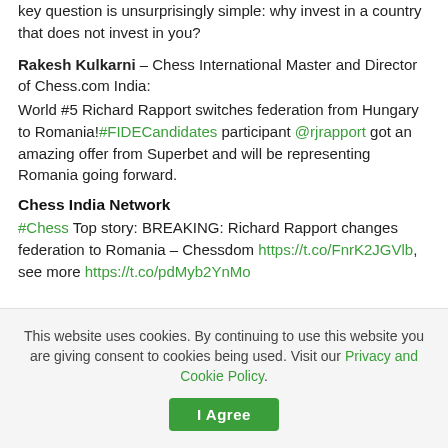key question is unsurprisingly simple: why invest in a country that does not invest in you?
Rakesh Kulkarni – Chess International Master and Director of Chess.com India:
World #5 Richard Rapport switches federation from Hungary to Romania! #FIDECandidates participant @rjrapport got an amazing offer from Superbet and will be representing Romania going forward.
Chess India Network
#Chess Top story: BREAKING: Richard Rapport changes federation to Romania – Chessdom https://t.co/FnrK2JGVlb, see more https://t.co/pdMyb2YnMo
This website uses cookies. By continuing to use this website you are giving consent to cookies being used. Visit our Privacy and Cookie Policy.